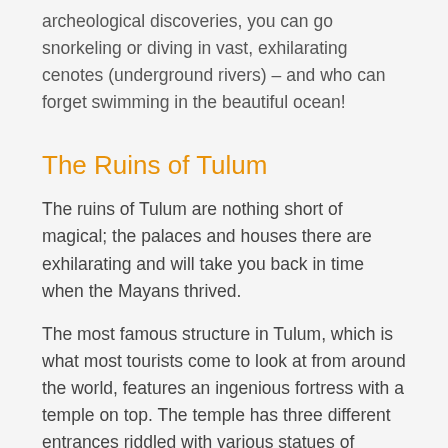archeological discoveries, you can go snorkeling or diving in vast, exhilarating cenotes (underground rivers) – and who can forget swimming in the beautiful ocean!
The Ruins of Tulum
The ruins of Tulum are nothing short of magical; the palaces and houses there are exhilarating and will take you back in time when the Mayans thrived.
The most famous structure in Tulum, which is what most tourists come to look at from around the world, features an ingenious fortress with a temple on top. The temple has three different entrances riddled with various statues of deities, columns made to shape as serpents and you will also see